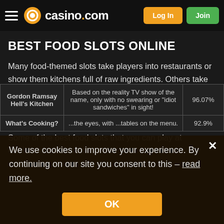casino.com — Log In | Join
BEST FOOD SLOTS ONLINE
Many food-themed slots take players into restaurants or show them kitchens full of raw ingredients. Others take them on a culinary journey. And then there are those where the foodstuffs are animated, humanized, and are definitely not for eating!
Some of the best food slots that you can play at Casino.com IE include:
|  |  |  |
| --- | --- | --- |
| Gordon Ramsay Hell's Kitchen | Based on the reality TV show of the name, only with no swearing or "idiot sandwiches" in sight! | 96.07% |
| What's Cooking? | ...the eyes, with ...tables on the menu. | 92.9% |
We use cookies to improve your experience. By continuing on our site you consent to this – read more.